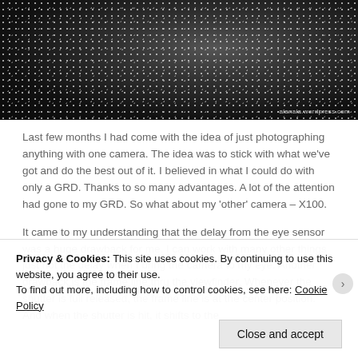[Figure (photo): Black and white photograph showing a dark textured surface with scattered light specks/particles, watermark 'alanala.wordpress.com' in bottom right corner]
Last few months I had come with the idea of just photographing anything with one camera. The idea was to stick with what we've got and do the best out of it. I believed in what I could do with only a GRD. Thanks to so many advantages. A lot of the attention had gone to my GRD. So what about my 'other' camera – X100.
It came to my understanding that the delay from the eye sensor was a huge drawback for me. I can work with many other things just not the delay when I bring the camera to my eye. Another drawback is the frame line thru the viewfinder. Whenever the shutter is full released, the frame line is at the center position. And when the shutter is hit, it shifts to the
Privacy & Cookies: This site uses cookies. By continuing to use this website, you agree to their use.
To find out more, including how to control cookies, see here: Cookie Policy
Close and accept